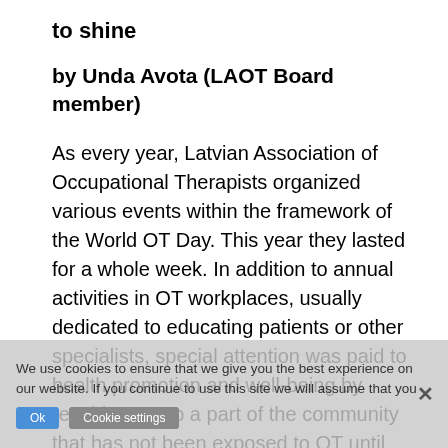to shine
by Unda Avota (LAOT Board member)
As every year, Latvian Association of Occupational Therapists organized various events within the framework of the World OT Day. This year they lasted for a whole week. In addition to annual activities in OT workplaces, usually dedicated to educating patients or other specialists, special attention was paid to health promotion and well-being by reaching out to a part of the community that has not been exposed to OT until now. In general, there were various events and activities, but we would like to emphasize those that were aimed at wider public.
Six days in a row, one of the capital's largest shopping malls hosted interactive, educational events open to anyone passing by. Each day was devoted to a different
We use cookies to ensure that we give you the best experience on our website. If you continue to use this site we will assume that you